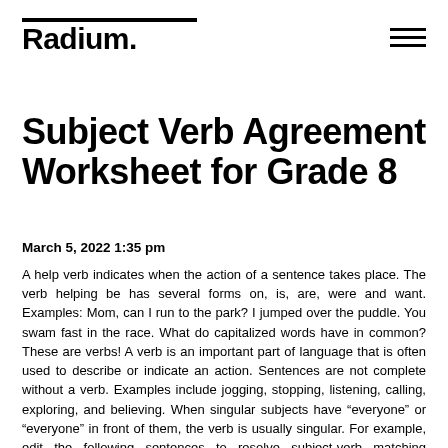Radium.
Subject Verb Agreement Worksheet for Grade 8
March 5, 2022 1:35 pm
A help verb indicates when the action of a sentence takes place. The verb helping be has several forms on, is, are, were and want. Examples: Mom, can I run to the park? I jumped over the puddle. You swam fast in the race. What do capitalized words have in common? These are verbs! A verb is an important part of language that is often used to describe or indicate an action. Sentences are not complete without a verb. Examples include jogging, stopping, listening, calling, exploring, and believing. When singular subjects have “everyone” or “everyone” in front of them, the verb is usually singular. For example, edit the following sentences to resolve subject-verb matching problems